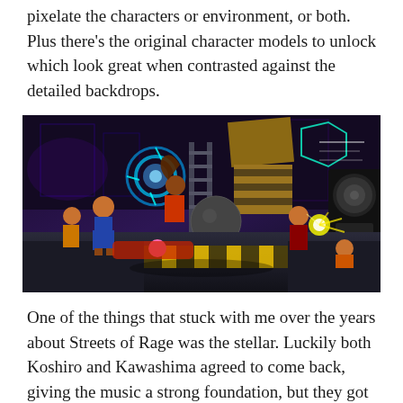pixelate the characters or environment, or both. Plus there's the original character models to unlock which look great when contrasted against the detailed backdrops.
[Figure (screenshot): Screenshot from Streets of Rage 4 showing animated characters fighting in a neon-lit industrial stage with speakers and construction equipment in the background.]
One of the things that stuck with me over the years about Streets of Rage was the stellar. Luckily both Koshiro and Kawashima agreed to come back, giving the music a strong foundation, but they got some